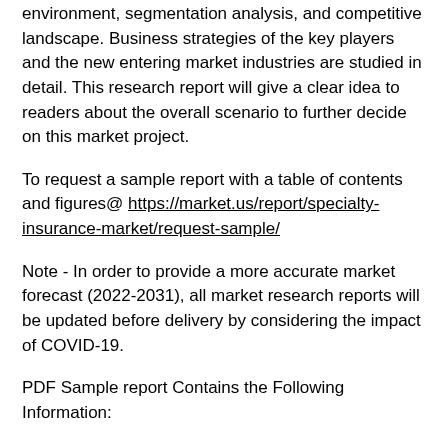environment, segmentation analysis, and competitive landscape. Business strategies of the key players and the new entering market industries are studied in detail. This research report will give a clear idea to readers about the overall scenario to further decide on this market project.
To request a sample report with a table of contents and figures@ https://market.us/report/specialty-insurance-market/request-sample/
Note - In order to provide a more accurate market forecast (2022-2031), all market research reports will be updated before delivery by considering the impact of COVID-19.
PDF Sample report Contains the Following Information:
#1. Market Overview (Drivers, Restraints, Opportunities and Trends)